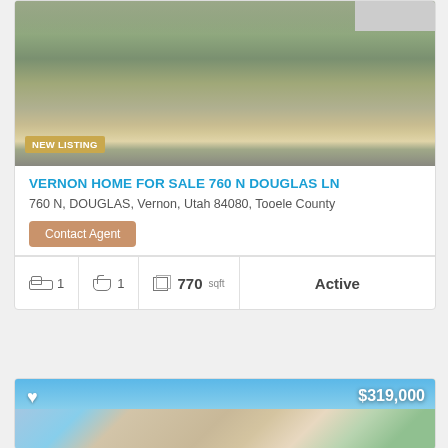[Figure (photo): Aerial/ground view of a property with dry grass and scrub land, building visible in background. Badge reads NEW LISTING.]
VERNON HOME FOR SALE 760 N DOUGLAS LN
760 N, DOUGLAS, Vernon, Utah 84080, Tooele County
Contact Agent
| Beds | Baths | Sqft | Status |
| --- | --- | --- | --- |
| 1 | 1 | 770 sqft | Active |
[Figure (photo): Exterior photo of a two-story beige/tan home with blue sky background. Price badge shows $319,000. Heart/favorite icon in top left.]